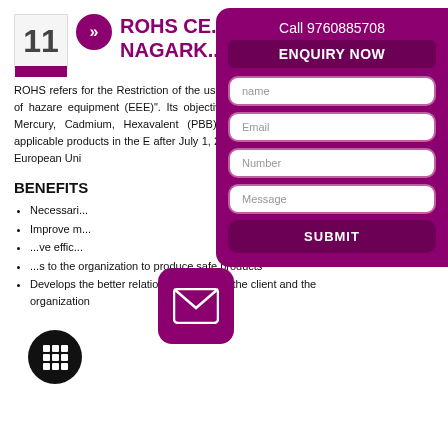11 ROHS CE... NAGARK...
ROHS refers for the Restriction of the use of hazardous substances within electrical and electronic equipment (EEE). Its objective is to restrict restriction of the use of hazardous substances within electrical and electronic equipment. Mercury, Cadmium, Hexavalent Chromium, Polybrominated Biphenyls (PBB), Polybrominated Bipheny... All applicable products in the EU market placed after July 1, 2006. The mandate is only applicable for the European Uni...
BENEFITS
Necessari...
Improve m...
...ve effic...
...s to the organization to produce safe products
Develops the better relationship between the client and the organization
Call 9760885708
ENQUIRY NOW
name
Email
Number
Message
SUBMIT